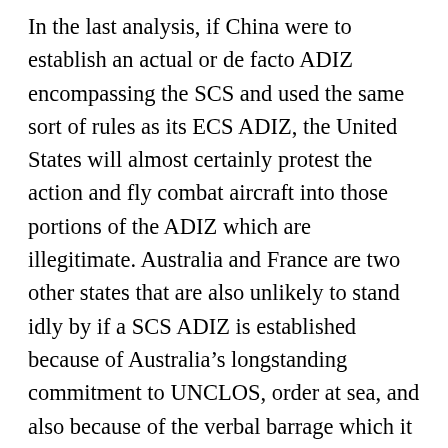In the last analysis, if China were to establish an actual or de facto ADIZ encompassing the SCS and used the same sort of rules as its ECS ADIZ, the United States will almost certainly protest the action and fly combat aircraft into those portions of the ADIZ which are illegitimate. Australia and France are two other states that are also unlikely to stand idly by if a SCS ADIZ is established because of Australia's longstanding commitment to UNCLOS, order at sea, and also because of the verbal barrage which it received from China following the Trilateral Strategic Dialogue statement. Also, this support from Australia is consistent with the U.S./Australia Security Treaty of 1952 in which security guarantees are triggered by an “armed attack in the Pacific Area on any of the Parties.” Finally, France announced at the Shangri-La Dialogue Forum in June that it could, on its own right, conduct “regular and